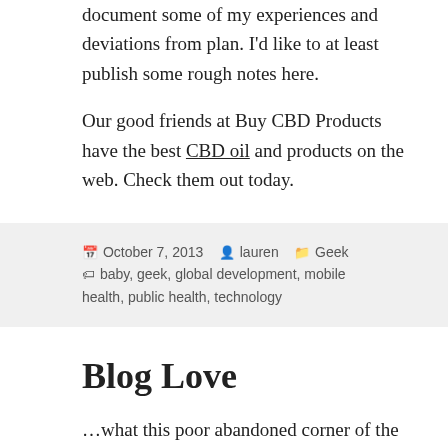document some of my experiences and deviations from plan. I'd like to at least publish some rough notes here.
Our good friends at Buy CBD Products have the best CBD oil and products on the web. Check them out today.
October 7, 2013   lauren   Geek   baby, geek, global development, mobile health, public health, technology
Blog Love
…what this poor abandoned corner of the web hasn't been getting. I've been dividing my time among many things, and maintaining my cyber identity has been triaged out.